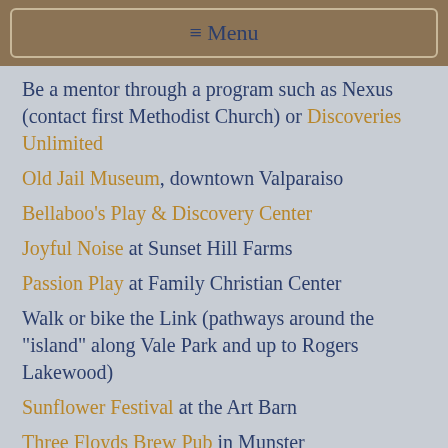≡ Menu
Be a mentor through a program such as Nexus (contact first Methodist Church) or Discoveries Unlimited
Old Jail Museum, downtown Valparaiso
Bellaboo's Play & Discovery Center
Joyful Noise at Sunset Hill Farms
Passion Play at Family Christian Center
Walk or bike the Link (pathways around the "island" along Vale Park and up to Rogers Lakewood)
Sunflower Festival at the Art Barn
Three Floyds Brew Pub in Munster